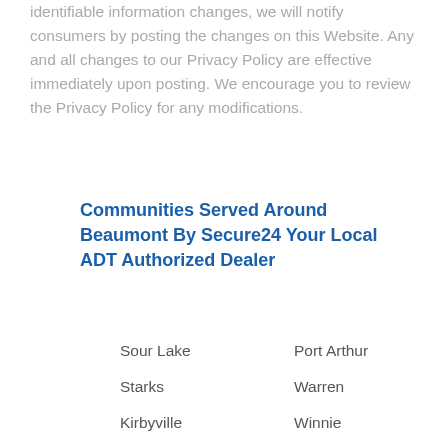identifiable information changes, we will notify consumers by posting the changes on this Website. Any and all changes to our Privacy Policy are effective immediately upon posting. We encourage you to review the Privacy Policy for any modifications.
Communities Served Around Beaumont By Secure24 Your Local ADT Authorized Dealer
Sour Lake
Port Arthur
Starks
Warren
Kirbyville
Winnie